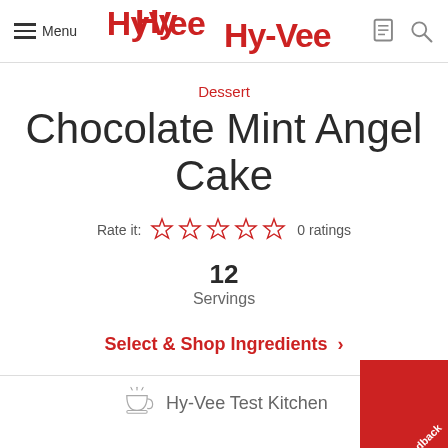Menu | Hy-Vee
Dessert
Chocolate Mint Angel Cake
Rate it: ☆☆☆☆☆ 0 ratings
12
Servings
Select & Shop Ingredients >
Hy-Vee Test Kitchen